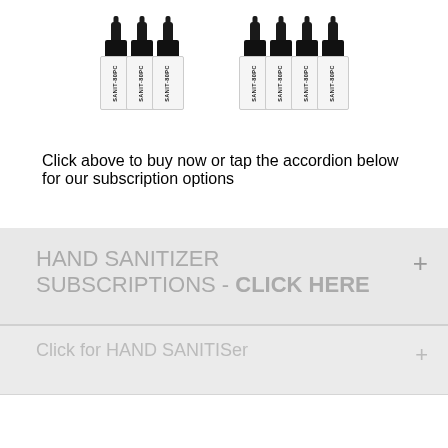[Figure (photo): Two groups of SANIT-80PC hand sanitizer spray bottles. Left group has 3 bottles, right group has 4 bottles. Bottles have black spray nozzle caps and white labels reading SANIT-80PC.]
Click above to buy now or tap the accordion below for our subscription options
HAND SANITIZER SUBSCRIPTIONS - CLICK HERE +
Click for HAND SANITISer +